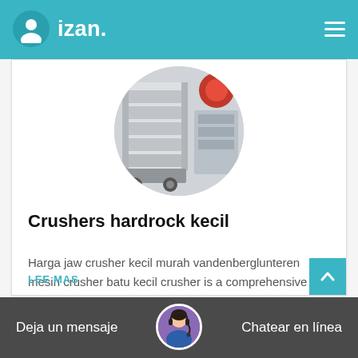izan.
[Figure (photo): Circular cropped photo of a small hardrock crusher / jaw crusher machine, white/grey industrial equipment]
Crushers hardrock kecil
Harga jaw crusher kecil murah vandenberglunteren mesin crusher batu kecil crusher is a comprehensive crusher jaw crusher…
LEE MAS
Deja un mensaje   Chatear en línea